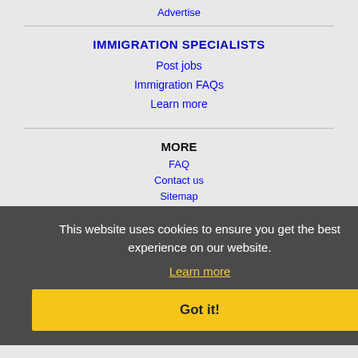Advertise
IMMIGRATION SPECIALISTS
Post jobs
Immigration FAQs
Learn more
MORE
FAQ
Contact us
Sitemap
Legal
Privacy
This website uses cookies to ensure you get the best experience on our website.
Learn more
Got it!
NEARBY CITIES
Bellevue, NE Jobs